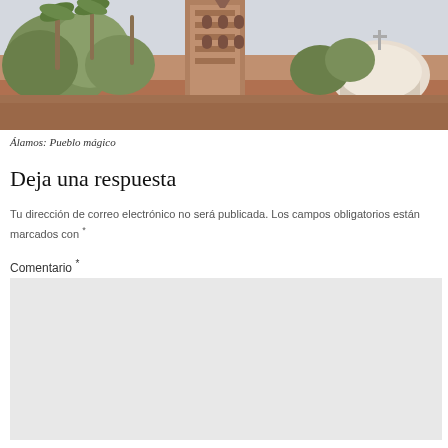[Figure (photo): Photograph of Álamos showing a colonial church bell tower and dome, surrounded by palm trees and terracotta-colored walls, with a pale sky background.]
Álamos: Pueblo mágico
Deja una respuesta
Tu dirección de correo electrónico no será publicada. Los campos obligatorios están marcados con *
Comentario *